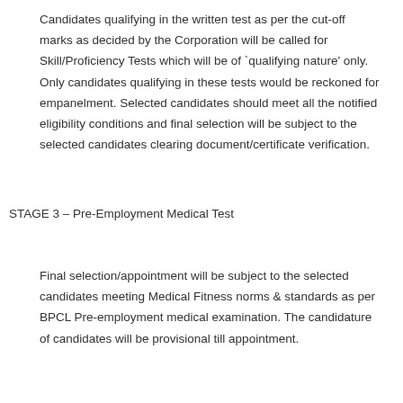Candidates qualifying in the written test as per the cut-off marks as decided by the Corporation will be called for Skill/Proficiency Tests which will be of `qualifying nature' only. Only candidates qualifying in these tests would be reckoned for empanelment. Selected candidates should meet all the notified eligibility conditions and final selection will be subject to the selected candidates clearing document/certificate verification.
STAGE 3 – Pre-Employment Medical Test
Final selection/appointment will be subject to the selected candidates meeting Medical Fitness norms & standards as per BPCL Pre-employment medical examination. The candidature of candidates will be provisional till appointment.